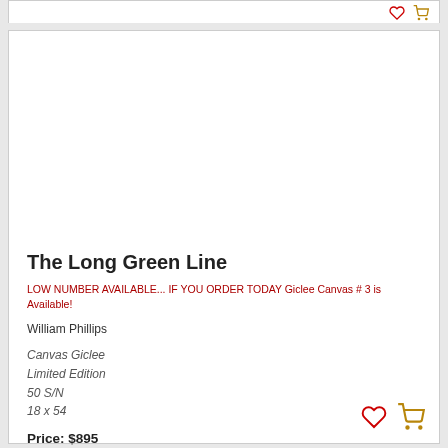[Figure (other): Blank white artwork image area for 'The Long Green Line']
The Long Green Line
LOW NUMBER AVAILABLE... IF YOU ORDER TODAY Giclee Canvas # 3 is Available!
William Phillips
Canvas Giclee
Limited Edition
50 S/N
18 x 54
Price: $895